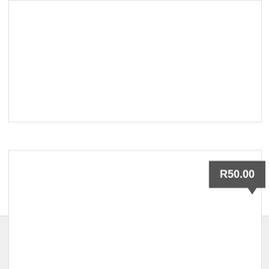[Figure (photo): Product image placeholder (top portion cut off) - white box with border]
African Animal Print Peg Bag on Hanger
Add to basket
[Figure (photo): Second product image placeholder with R50.00 price badge in dark grey]
R50.00
Navigation bar with user icon, search icon, and cart icon with badge showing 0